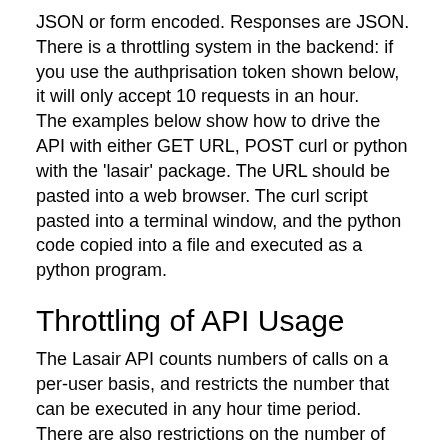JSON or form encoded. Responses are JSON. There is a throttling system in the backend: if you use the authprisation token shown below, it will only accept 10 requests in an hour.
The examples below show how to drive the API with either GET URL, POST curl or python with the 'lasair' package. The URL should be pasted into a web browser. The curl script pasted into a terminal window, and the python code copied into a file and executed as a python program.
Throttling of API Usage
The Lasair API counts numbers of calls on a per-user basis, and restricts the number that can be executed in any hour time period. There are also restrictions on the number of rows that can be returned by the 'query' method. The token shown below is just to show you how the API services work, it is not intended for real work. To use the API with less throttling, please get